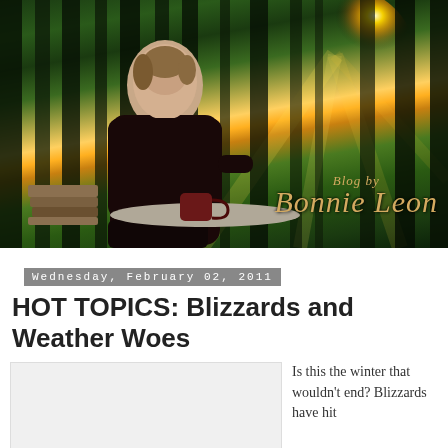[Figure (photo): Header banner photo: woman seated in dark blazer with a coffee mug and books on a table, forest background with sunburst through trees, text overlay reading 'Blog by Bonnie Leon' in golden italic script]
Wednesday, February 02, 2011
HOT TOPICS: Blizzards and Weather Woes
[Figure (photo): Partially visible article image placeholder (light gray box)]
Is this the winter that wouldn't end? Blizzards have hit